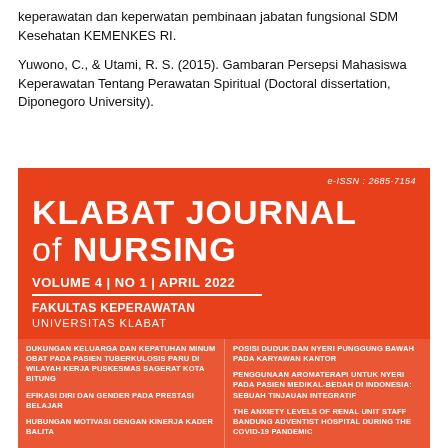keperawatan dan keperwatan pembinaan jabatan fungsional SDM Kesehatan KEMENKES RI.
Yuwono, C., & Utami, R. S. (2015). Gambaran Persepsi Mahasiswa Keperawatan Tentang Perawatan Spiritual (Doctoral dissertation, Diponegoro University).
[Figure (other): Journal cover for Klabat Journal of Nursing, Volume 4, No 1, April 2022. Orange/red background with white text. e-ISSN: 2685-7154. Published by Fakultas Keperawatan, Universitas Klabat. Lists article titles including: Dukungan Keluarga Dan Kepatuhan Minum Obat Pada Pasien Tuberkulosis Paru Di Wilayah Kerja Puskesmas Sagerat Kota Bitung; Efikasi Diri Dan Gender Pada Prestasi Belajar; Hubungan Motivasi Dengan Kinerja Kader Balita; Posisi Duduk Dan Nyeri Punggung Bawah Pada Karyawan Kantor; Penggunaan Aromaterapi Untuk Nyeri Pada Pasien Medikal-Bedah Di Indonesia: Sebuah Tinjauan Integratif; The Anxiety Levels Of Renal Unit Staff Bandung Adventist Hospital During The Covid-19 Pandemic.]